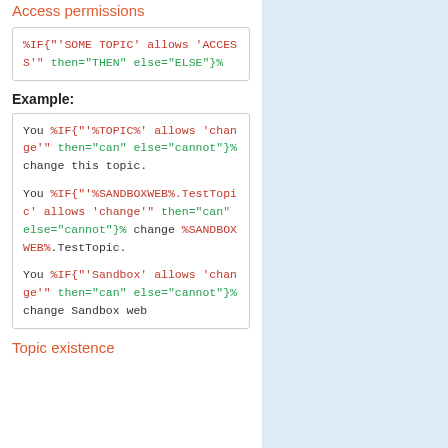Access permissions
%IF{"'SOME TOPIC' allows 'ACCESS'" then="THEN" else="ELSE"}%
Example:
You %IF{"'%TOPIC%' allows 'change'" then="can" else="cannot"}% change this topic.

You %IF{"'%SANDBOXWEB%.TestTopic' allows 'change'" then="can" else="cannot"}% change %SANDBOXWEB%.TestTopic.

You %IF{"'Sandbox' allows 'change'" then="can" else="cannot"}% change Sandbox web
Topic existence